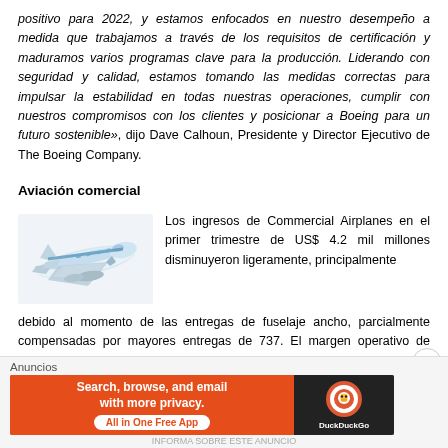positivo para 2022, y estamos enfocados en nuestro desempeño a medida que trabajamos a través de los requisitos de certificación y maduramos varios programas clave para la producción. Liderando con seguridad y calidad, estamos tomando las medidas correctas para impulsar la estabilidad en todas nuestras operaciones, cumplir con nuestros compromisos con los clientes y posicionar a Boeing para un futuro sostenible», dijo Dave Calhoun, Presidente y Director Ejecutivo de The Boeing Company.
Aviación comercial
[Figure (photo): Boeing commercial airplane (737) in flight, white with blue accents, viewed from front-left angle]
Los ingresos de Commercial Airplanes en el primer trimestre de US$ 4.2 mil millones disminuyeron ligeramente, principalmente debido al momento de las entregas de fuselaje ancho, parcialmente compensadas por mayores entregas de 737. El margen operativo de 20,6% también refleja los costos anormales y los gastos del periodo, incluidos los cargos por los impactos de la guerra en Ucrania y los
Anuncios
[Figure (screenshot): DuckDuckGo advertisement banner: orange background with text 'Search, browse, and email with more privacy. All in One Free App' and DuckDuckGo logo on dark right panel]